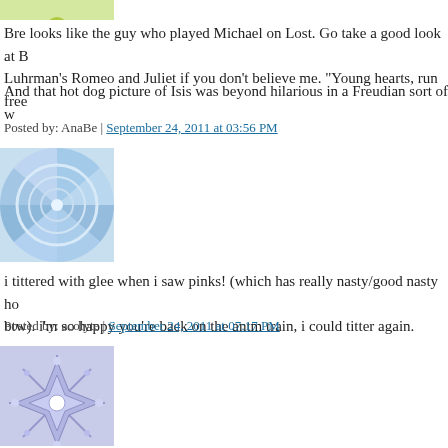[Figure (illustration): Avatar icon with green/yellow leaf-like pattern, partially visible at top]
Bre looks like the guy who played Michael on Lost. Go take a good look at Baz Luhrman's Romeo and Juliet if you don't believe me. "Young hearts, run free"
And that hot dog picture of Isis was beyond hilarious in a Freudian sort of way.
Posted by: AnaBe | September 24, 2011 at 03:56 PM
[Figure (illustration): Avatar icon with blue/white radial wave pattern]
i tittered with glee when i saw pinks! (which has really nasty/good nasty hot dogs btw). i'm so happy you're back on the antm train, i could titter again.
Posted by: acolyte | September 24, 2011 at 07:17 PM
[Figure (illustration): Avatar icon with blue/purple geometric snowflake pattern]
Thank you for recapping this cycle! I hoped you'd come out of ANTM-retirement for this one and you did! I lol'd so many times just reading your recap, I scared my cat away. You and your gifs are brilliant. :)
Posted by: Melanie | September 24, 2011 at 10:02 PM
[Figure (illustration): Avatar icon with blue/teal wave pattern, partially visible at bottom]